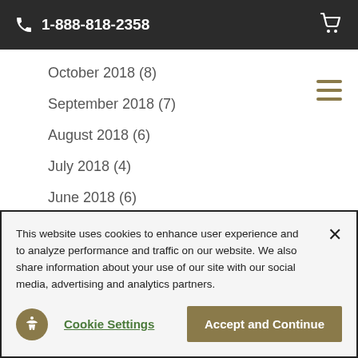1-888-818-2358
October 2018 (8)
September 2018 (7)
August 2018 (6)
July 2018 (4)
June 2018 (6)
May 2018 (2)
April 2018 (4)
This website uses cookies to enhance user experience and to analyze performance and traffic on our website. We also share information about your use of our site with our social media, advertising and analytics partners.
Cookie Settings
Accept and Continue